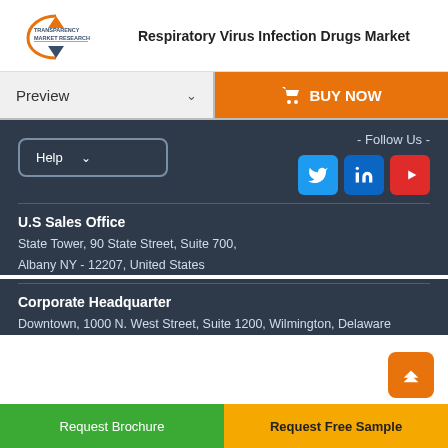Respiratory Virus Infection Drugs Market
Preview
BUY NOW
- Follow Us -
Help
U.S Sales Office
State Tower, 90 State Street, Suite 700, Albany NY - 12207, United States
Corporate Headquarter
Downtown, 1000 N. West Street, Suite 1200, Wilmington, Delaware
Request Brochure
Request Free Sample